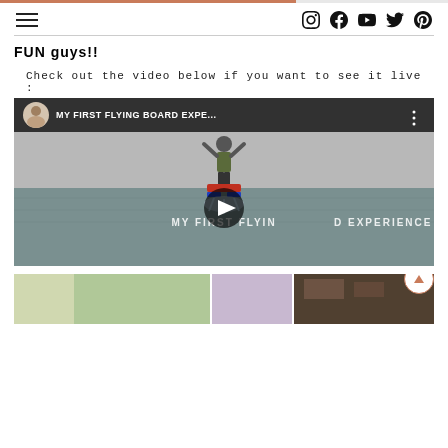Navigation header with hamburger menu and social icons (Instagram, Facebook, YouTube, Twitter, Pinterest)
FUN guys!!
Check out the video below if you want to see it live :
[Figure (screenshot): YouTube video embed showing 'MY FIRST FLYING BOARD EXPE...' with a person on a flyboard over water, play button in center]
[Figure (photo): Bottom row of three partial images]